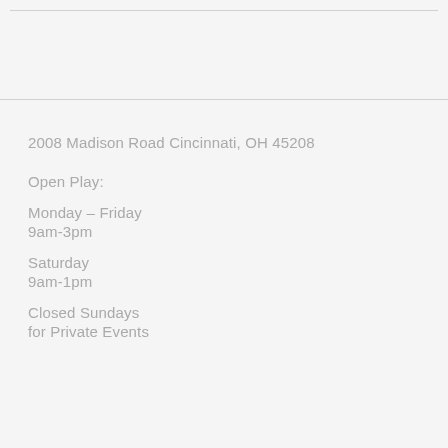2008 Madison Road Cincinnati, OH 45208
Open Play:
Monday – Friday
9am-3pm
Saturday
9am-1pm
Closed Sundays
for Private Events